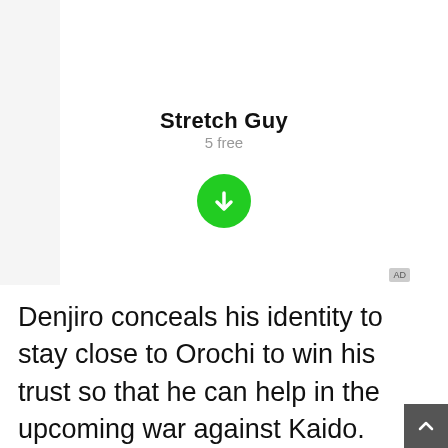Stretch Guy
5 free
[Figure (illustration): Green circular download button with white downward arrow icon]
AD
Denjiro conceals his identity to stay close to Orochi to win his trust so that he can help in the upcoming war against Kaido.